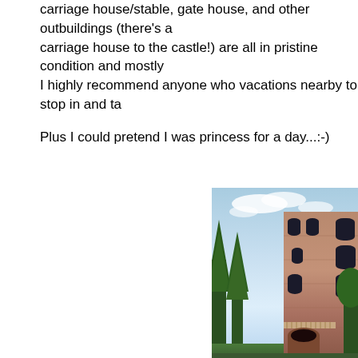carriage house/stable, gate house, and other outbuildings (there's a carriage house to the castle!) are all in pristine condition and mostly
I highly recommend anyone who vacations nearby to stop in and ta
Plus I could pretend I was princess for a day...:-)
[Figure (photo): Photograph of a large stone castle building with arched windows and Gothic architectural details, surrounded by tall evergreen trees under a partly cloudy sky.]